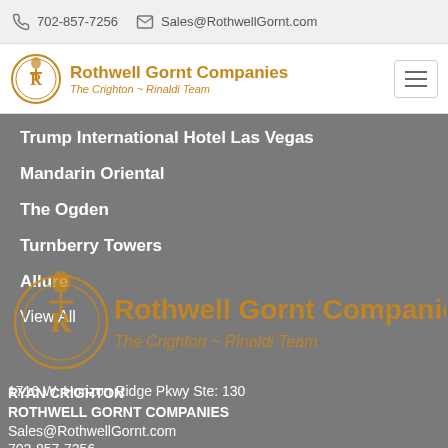702-857-7256   Sales@RothwellGornt.com
[Figure (logo): Rothwell Gornt Companies logo with tagline The Crighton – Rinaldi Team and hamburger menu icon]
Trump International Hotel Las Vegas
Mandarin Oriental
The Ogden
Turnberry Towers
Allure
View All
[Figure (logo): Large Rothwell Gornt Companies watermark logo with golden text and The Crighton – Rinaldi Team tagline on gray background]
RYAN CRIGHTON
ROTHWELL GORNT COMPANIES
Sales@RothwellGornt.com
702-857-7256
1716 W. Horizon Ridge Pkwy Ste: 130